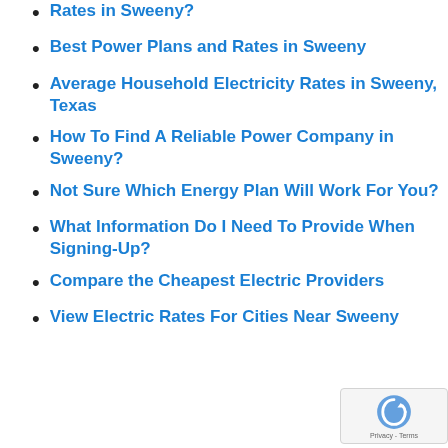Rates in Sweeny?
Best Power Plans and Rates in Sweeny
Average Household Electricity Rates in Sweeny, Texas
How To Find A Reliable Power Company in Sweeny?
Not Sure Which Energy Plan Will Work For You?
What Information Do I Need To Provide When Signing-Up?
Compare the Cheapest Electric Providers
View Electric Rates For Cities Near Sweeny